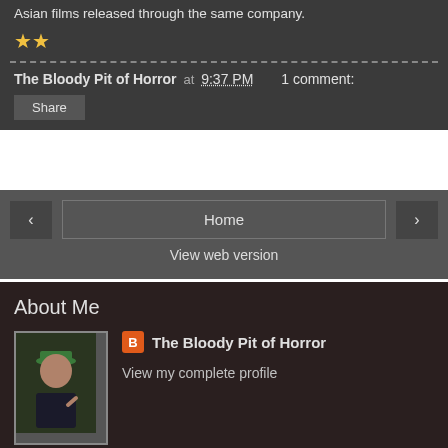Asian films released through the same company.
★★
The Bloody Pit of Horror at 9:37 PM   1 comment:
Share
Home
View web version
About Me
The Bloody Pit of Horror
View my complete profile
Powered by Blogger.